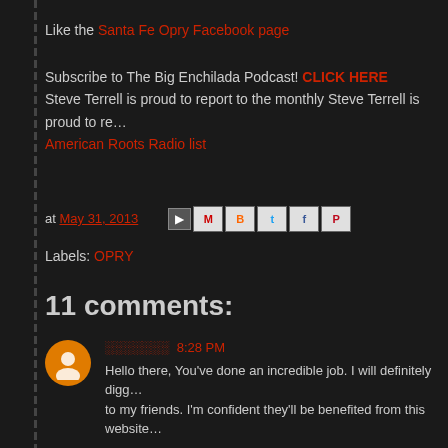Like the Santa Fe Opry Facebook page
Subscribe to The Big Enchilada Podcast! CLICK HERE
Steve Terrell is proud to report to the monthly Steve Terrell is proud to re…
American Roots Radio list
at May 31, 2013
Labels: OPRY
11 comments:
░░░░░░░ 8:28 PM
Hello there, You've done an incredible job. I will definitely digg… to my friends. I'm confident they'll be benefited from this website…
░░░░░░
░░░░░░
░░░░░░░░